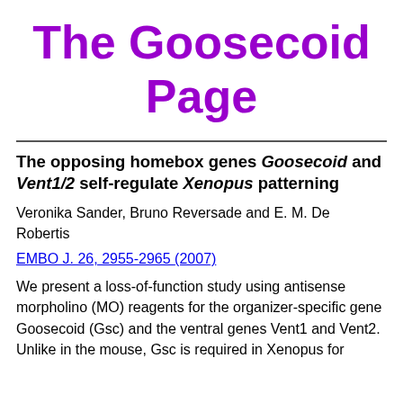The Goosecoid Page
The opposing homebox genes Goosecoid and Vent1/2 self-regulate Xenopus patterning
Veronika Sander, Bruno Reversade and E. M. De Robertis
EMBO J. 26, 2955-2965 (2007)
We present a loss-of-function study using antisense morpholino (MO) reagents for the organizer-specific gene Goosecoid (Gsc) and the ventral genes Vent1 and Vent2. Unlike in the mouse, Gsc is required in Xenopus for